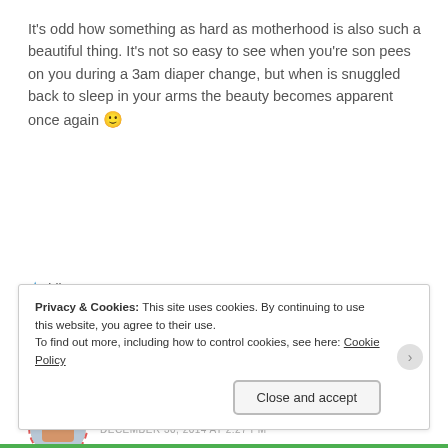It's odd how something as hard as motherhood is also such a beautiful thing. It's not so easy to see when you're son pees on you during a 3am diaper change, but when is snuggled back to sleep in your arms the beauty becomes apparent once again 🙂
★ Like
Reply
Sasha
DECEMBER 30, 2014 AT 2:27 PM
Privacy & Cookies: This site uses cookies. By continuing to use this website, you agree to their use.
To find out more, including how to control cookies, see here: Cookie Policy
Close and accept